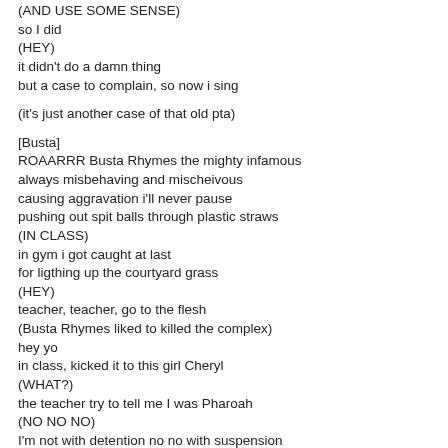(AND USE SOME SENSE)
so I did
(HEY)
it didn't do a damn thing
but a case to complain, so now i sing

(it's just another case of that old pta)

[Busta]
ROAARRR Busta Rhymes the mighty infamous
always misbehaving and mischeivous
causing aggravation i'll never pause
pushing out spit balls through plastic straws
(IN CLASS)
in gym i got caught at last
for ligthing up the courtyard grass
(HEY)
teacher, teacher, go to the flesh
(Busta Rhymes liked to killed the complex)
hey yo
in class, kicked it to this girl Cheryl
(WHAT?)
the teacher try to tell me I was Pharoah
(NO NO NO)
I'm not with detention no no with suspension
a child's wickeddy wild the Calbridge Hill styles
teach us just a knowledge to go talk to my mommy
now when she gets home, she's gonna wear out the body
I hate this relationship, the mom and teacher
when she reaches home hey yo she knows that I reached ya